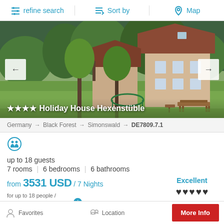refine search   Sort by   Map
[Figure (photo): Exterior photo of Holiday House Hexenstüble, a large country house with red roof surrounded by green trees and garden with trampoline and picnic bench]
★★★★ Holiday House Hexenstüble
Germany → Black Forest → Simonswald → DE7809.7.1
up to 18 guests
7 rooms | 6 bedrooms | 6 bathrooms
from 3531 USD / 7 Nights
for up to 18 people / additional costs may apply
Excellent
1 reviews
Favorites   Location   More Info